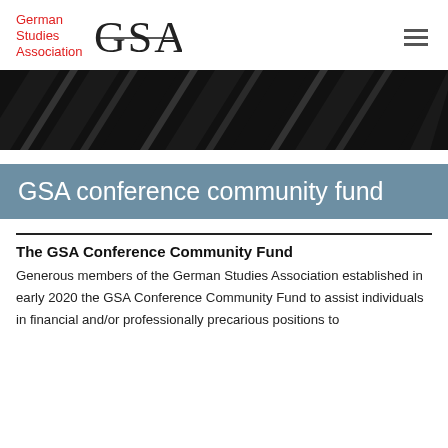German Studies Association GSA
[Figure (photo): Black and white close-up photo of diagonal architectural or structural elements creating a striped pattern]
GSA conference community fund
The GSA Conference Community Fund
Generous members of the German Studies Association established in early 2020 the GSA Conference Community Fund to assist individuals in financial and/or professionally precarious positions to